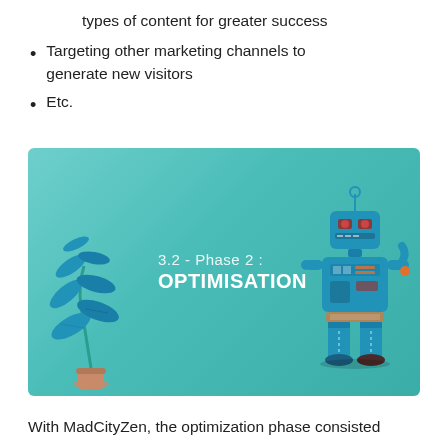types of content for greater success
Targeting other marketing channels to generate new visitors
Etc.
[Figure (illustration): Teal/green gradient slide box reading '3.2 - Phase 2 : OPTIMISATION' with a cartoon blue plant on the left and a cartoon blue robot on the right]
With MadCityZen, the optimization phase consisted